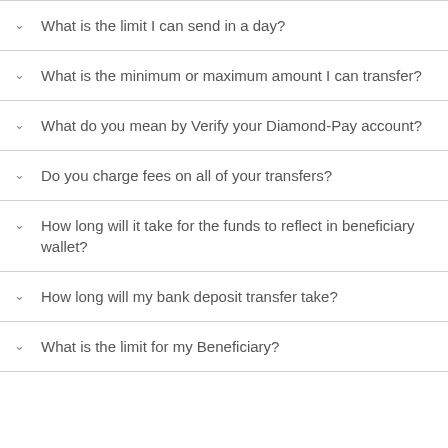What is the limit I can send in a day?
What is the minimum or maximum amount I can transfer?
What do you mean by Verify your Diamond-Pay account?
Do you charge fees on all of your transfers?
How long will it take for the funds to reflect in beneficiary wallet?
How long will my bank deposit transfer take?
What is the limit for my Beneficiary?